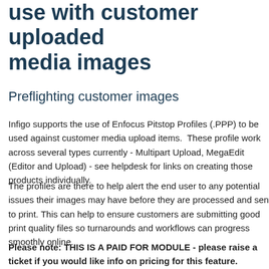use with customer uploaded media images
Preflighting customer images
Infigo supports the use of Enfocus Pitstop Profiles (.PPP) to be used against customer media upload items.  These profile work across several types currently - Multipart Upload, MegaEdit (Editor and Upload) - see helpdesk for links on creating those products individually.
The profiles are there to help alert the end user to any potential issues their images may have before they are processed and sent to print. This can help to ensure customers are submitting good print quality files so turnarounds and workflows can progress smoothly online.
Please note: THIS IS A PAID FOR MODULE - please raise a ticket if you would like info on pricing for this feature.